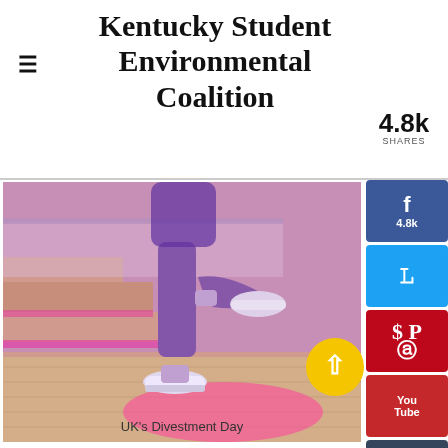Kentucky Student Environmental Coalition
4.8k SHARES
[Figure (photo): Person wearing jeans and chunky white sneakers, stepping on indoor stairs with vivid pink/magenta neon lighting.]
UK's Divestment Day